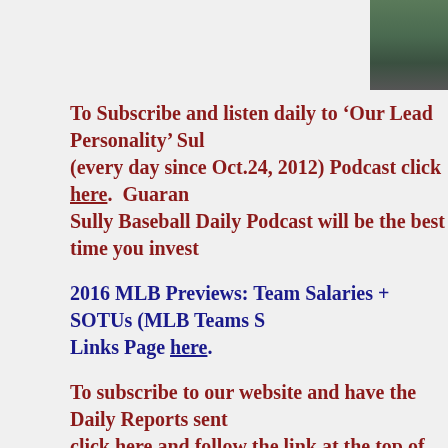[Figure (photo): Partial photo of a person, cropped at top right of page]
To Subscribe and listen daily to 'Our Lead Personality' Sul (every day since Oct.24, 2012) Podcast click here. Guaran Sully Baseball Daily Podcast will be the best time you invest
2016 MLB Previews: Team Salaries + SOTUs (MLB Teams S Links Page here.
To subscribe to our website and have the Daily Reports sent click here and follow the link at the top of our homepage. Li
Share This
Share
Loading...
Related